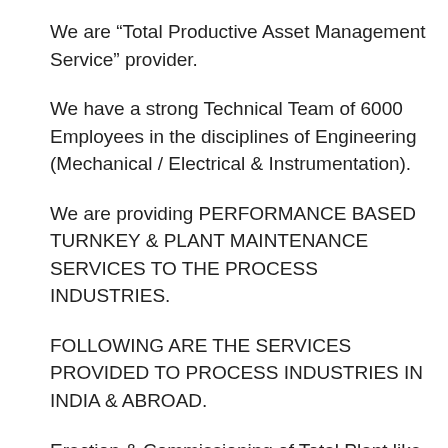We are “Total Productive Asset Management Service” provider.
We have a strong Technical Team of 6000 Employees in the disciplines of Engineering (Mechanical / Electrical & Instrumentation).
We are providing PERFORMANCE BASED TURNKEY & PLANT MAINTENANCE SERVICES TO THE PROCESS INDUSTRIES.
FOLLOWING ARE THE SERVICES PROVIDED TO PROCESS INDUSTRIES IN INDIA & ABROAD.
Erection & Commissioning of Total Plant like Petrochemical, Steel Plants, Power Plants,